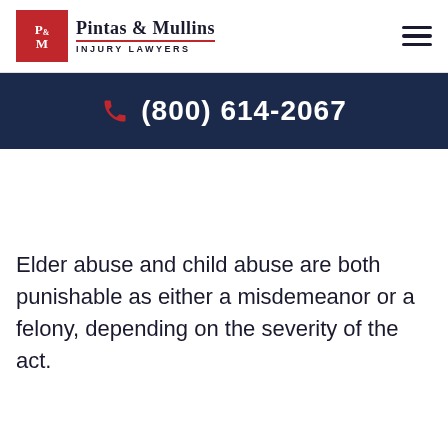Pintas & Mullins INJURY LAWYERS
(800) 614-2067
Elder abuse and child abuse are both punishable as either a misdemeanor or a felony, depending on the severity of the act.